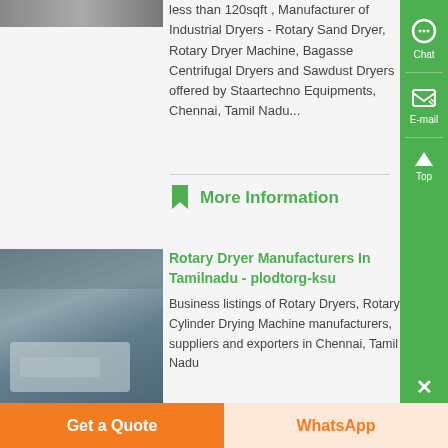[Figure (photo): Partial image of industrial dryer equipment at top left]
less than 120sqft , Manufacturer of Industrial Dryers - Rotary Sand Dryer, Rotary Dryer Machine, Bagasse Centrifugal Dryers and Sawdust Dryers offered by Staartechno Equipments, Chennai, Tamil Nadu...
More Information
Rotary Dryer Manufacturers In Tamilnadu - plodtorg-ksu
[Figure (photo): Interior of industrial facility with large rotary dryer machinery on truck]
Business listings of Rotary Dryers, Rotary Cylinder Drying Machine manufacturers, suppliers and exporters in Chennai, Tamil Nadu
Get a Quote
WhatsApp